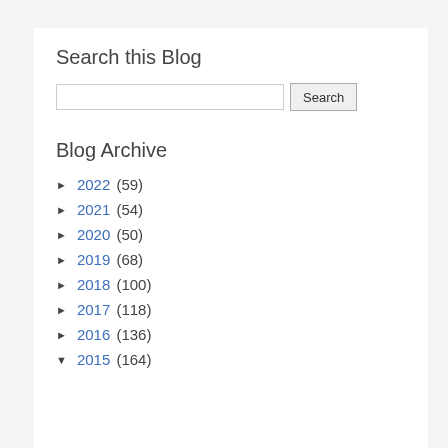Search this Blog
[Search input box and Search button]
Blog Archive
► 2022 (59)
► 2021 (54)
► 2020 (50)
► 2019 (68)
► 2018 (100)
► 2017 (118)
► 2016 (136)
▼ 2015 (164)